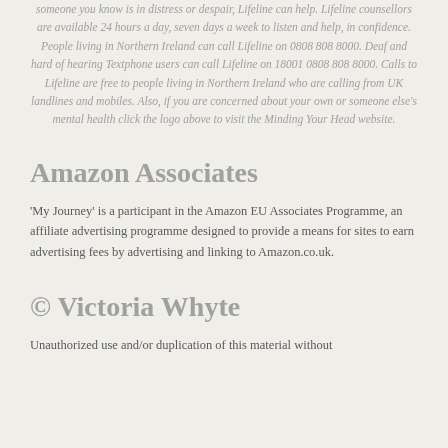someone you know is in distress or despair, Lifeline can help. Lifeline counsellors are available 24 hours a day, seven days a week to listen and help, in confidence. People living in Northern Ireland can call Lifeline on 0808 808 8000. Deaf and hard of hearing Textphone users can call Lifeline on 18001 0808 808 8000. Calls to Lifeline are free to people living in Northern Ireland who are calling from UK landlines and mobiles. Also, if you are concerned about your own or someone else's mental health click the logo above to visit the Minding Your Head website.
Amazon Associates
'My Journey' is a participant in the Amazon EU Associates Programme, an affiliate advertising programme designed to provide a means for sites to earn advertising fees by advertising and linking to Amazon.co.uk.
© Victoria Whyte
Unauthorized use and/or duplication of this material without